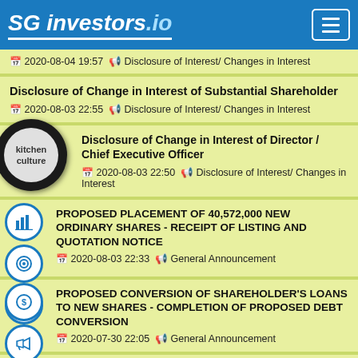SG investors.io
2020-08-04 19:57  Disclosure of Interest/ Changes in Interest
Disclosure of Change in Interest of Substantial Shareholder
2020-08-03 22:55  Disclosure of Interest/ Changes in Interest
Disclosure of Change in Interest of Director / Chief Executive Officer
2020-08-03 22:50  Disclosure of Interest/ Changes in Interest
PROPOSED PLACEMENT OF 40,572,000 NEW ORDINARY SHARES - RECEIPT OF LISTING AND QUOTATION NOTICE
2020-08-03 22:33  General Announcement
PROPOSED CONVERSION OF SHAREHOLDER'S LOANS TO NEW SHARES - COMPLETION OF PROPOSED DEBT CONVERSION
2020-07-30 22:05  General Announcement